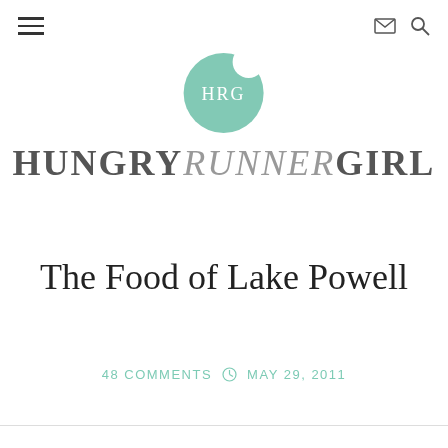≡  ✉ 🔍
[Figure (logo): Hungry Runner Girl logo: mint green circle with a bite taken out of top-right, white text HRG inside, followed by HUNGRY RUNNER GIRL text below in gray serif font]
The Food of Lake Powell
48 COMMENTS  ⏱  MAY 29, 2011